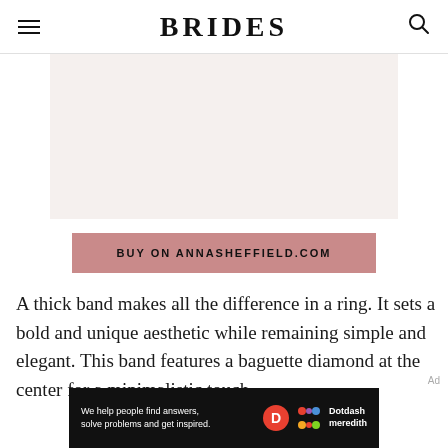BRIDES
[Figure (photo): Product image area for Anna Sheffield ring — light beige/cream background placeholder]
BUY ON ANNASHEFFIELD.COM
A thick band makes all the difference in a ring. It sets a bold and unique aesthetic while remaining simple and elegant. This band features a baguette diamond at the center for a minimalistic touch.
[Figure (other): Dotdash Meredith advertisement banner: 'We help people find answers, solve problems and get inspired.']